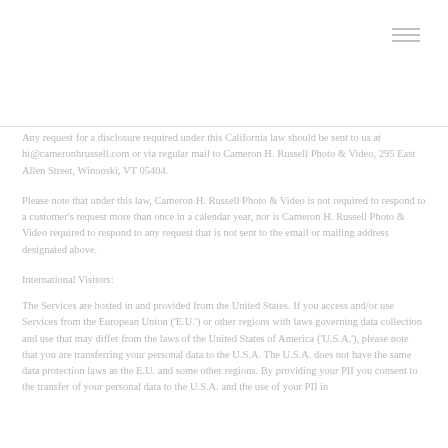Any request for a disclosure required under this California law should be sent to us at hi@cameronhrussell.com or via regular mail to Cameron H. Russell Photo & Video, 295 East Allen Street, Winooski, VT 05404.
Please note that under this law, Cameron H. Russell Photo & Video is not required to respond to a customer's request more than once in a calendar year, nor is Cameron H. Russell Photo & Video required to respond to any request that is not sent to the email or mailing address designated above.
International Visitors:
The Services are hosted in and provided from the United States. If you access and/or use Services from the European Union ('E.U.') or other regions with laws governing data collection and use that may differ from the laws of the United States of America ('U.S.A.'), please note that you are transferring your personal data to the U.S.A. The U.S.A. does not have the same data protection laws as the E.U. and some other regions. By providing your PII you consent to the transfer of your personal data to the U.S.A. and the use of your PII in